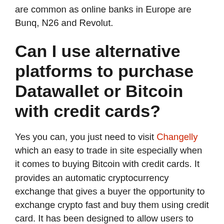are common as online banks in Europe are Bunq, N26 and Revolut.
Can I use alternative platforms to purchase Datawallet or Bitcoin with credit cards?
Yes you can, you just need to visit Changelly which an easy to trade in site especially when it comes to buying Bitcoin with credit cards. It provides an automatic cryptocurrency exchange that gives a buyer the opportunity to exchange crypto fast and buy them using credit card. It has been designed to allow users to have easy crypto buying since it has a simple user interface and provides instructions that are easy to follow too.